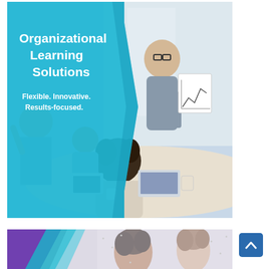[Figure (photo): A business meeting scene showing a presenter holding a chart/graph in front of seated colleagues around a table. A teal/blue pentagon-shaped overlay on the left side contains bold white text reading 'Organizational Learning Solutions' and 'Flexible. Innovative. Results-focused.']
[Figure (photo): Partial banner image showing two women (one darker-complexioned, one lighter) with colorful diagonal geometric shapes (purple, teal) on the left side. Bottom portion of the page, partially cut off.]